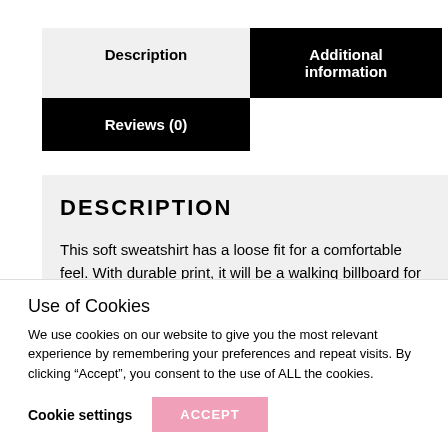Description
Additional information
Reviews (0)
DESCRIPTION
This soft sweatshirt has a loose fit for a comfortable feel. With durable print, it will be a walking billboard for years to come.
Use of Cookies
We use cookies on our website to give you the most relevant experience by remembering your preferences and repeat visits. By clicking “Accept”, you consent to the use of ALL the cookies.
Cookie settings   ACCEPT